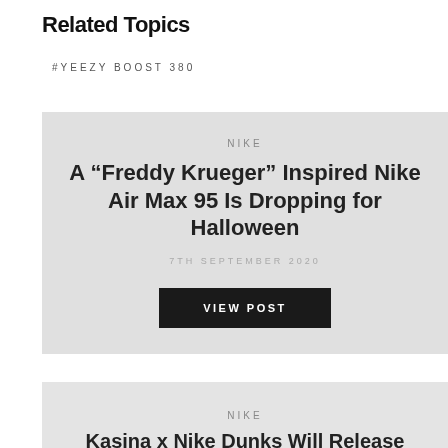Related Topics
#YEEZY BOOST 380
[Figure (other): Article card with light gray background containing Nike article: 'A “Freddy Krueger” Inspired Nike Air Max 95 Is Dropping for Halloween', dated 7TH SEPTEMBER 2020, with VIEW POST button]
[Figure (other): Article card with light gray background containing Nike article: 'Kasina x Nike Dunks Will Release...' (partially visible)]